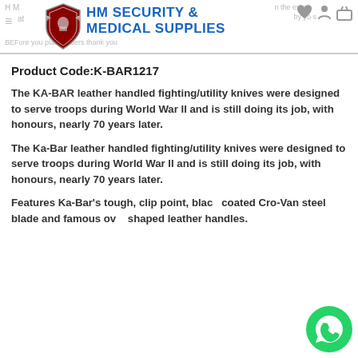HM SECURITY & MEDICAL SUPPLIES
Product Code:K-BAR1217
The KA-BAR leather handled fighting/utility knives were designed to serve troops during World War II and is still doing its job, with honours, nearly 70 years later.
The Ka-Bar leather handled fighting/utility knives were designed to serve troops during World War II and is still doing its job, with honours, nearly 70 years later.
Features Ka-Bar's tough, clip point, black coated Cro-Van steel blade and famous oval shaped leather handles.